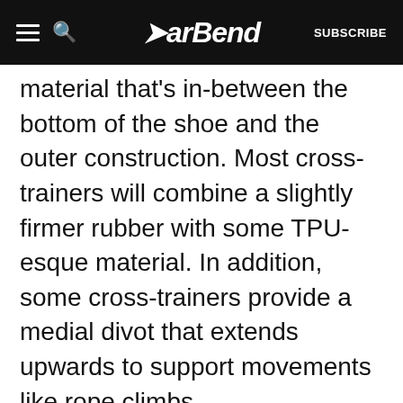BarBend
material that's in-between the bottom of the shoe and the outer construction. Most cross-trainers will combine a slightly firmer rubber with some TPU-esque material. In addition, some cross-trainers provide a medial divot that extends upwards to support movements like rope climbs.
The combination of these two construction traits provide these shoes with harder feeling than normal tennis shoes/sneakers, and an outsole that's pretty resilient to compression